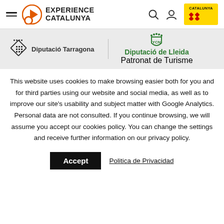Experience Catalunya — navigation header with hamburger menu, search, user icons, and Catalunya logo
[Figure (logo): Diputació Tarragona logo (diamond grid icon) and Diputació de Lleida Patronat de Turisme logo (green shield/crown emblem)]
This website uses cookies to make browsing easier both for you and for third parties using our website and social media, as well as to improve our site's usability and subject matter with Google Analytics. Personal data are not consulted. If you continue browsing, we will assume you accept our cookies policy. You can change the settings and receive further information on our privacy policy.
Accept   Politica de Privacidad